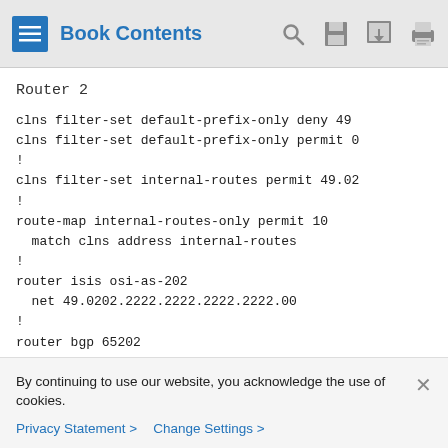Book Contents
Router 2
clns filter-set default-prefix-only deny 49
clns filter-set default-prefix-only permit 0
!
clns filter-set internal-routes permit 49.02
!
route-map internal-routes-only permit 10
  match clns address internal-routes
!
router isis osi-as-202
  net 49.0202.2222.2222.2222.2222.00
!
router bgp 65202
  no bgp default ipv4-unicast
By continuing to use our website, you acknowledge the use of cookies.
Privacy Statement > Change Settings >